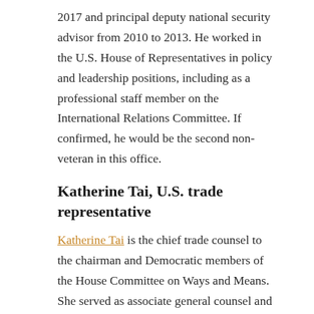2017 and principal deputy national security advisor from 2010 to 2013. He worked in the U.S. House of Representatives in policy and leadership positions, including as a professional staff member on the International Relations Committee. If confirmed, he would be the second non-veteran in this office.
Katherine Tai, U.S. trade representative
Katherine Tai is the chief trade counsel to the chairman and Democratic members of the House Committee on Ways and Means. She served as associate general counsel and chief counsel for China trade enforcement at the Office of the United States Trade Representative. She previously practiced law in Washington, D.C., with a focus on international trade